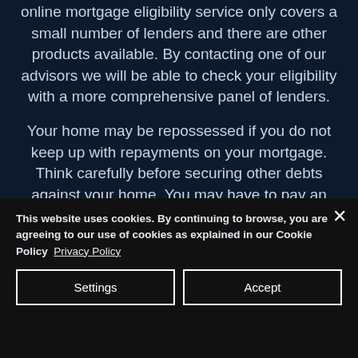online mortgage eligibility service only covers a small number of lenders and there are other products available. By contacting one of our advisors we will be able to check your eligibility with a more comprehensive panel of lenders.
Your home may be repossessed if you do not keep up with repayments on your mortgage. Think carefully before securing other debts against your home. You may have to pay an early repayment charge to your existing lender if you remortgage.
This website uses cookies. By continuing to browse, you are agreeing to our use of cookies as explained in our Cookie Policy  Privacy Policy